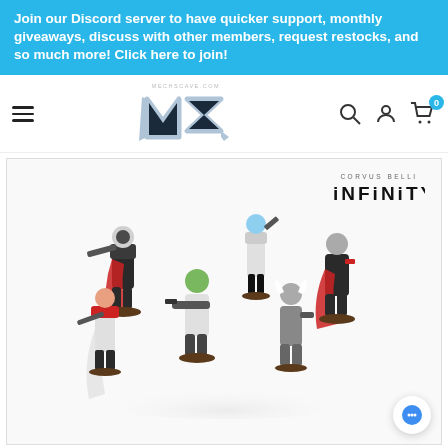Join our Discord server to have quicker support, monthly giveaways, discuss with other members, request restocks, and so much more! Click here to join!
[Figure (logo): MZ (Mechs Cave) logo with navigation bar including hamburger menu, search, account, and cart icons with badge showing 0]
[Figure (photo): Corvus Belli Infinity miniatures - six detailed sci-fi character miniatures on round bases, with Corvus Belli Infinity logo in upper right]